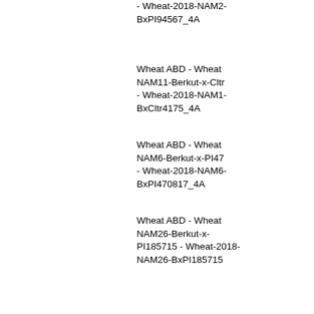- Wheat-2018-NAM2-BxPI94567_4A
Wheat ABD - Wheat NAM11-Berkut-x-Cltr - Wheat-2018-NAM1-BxCltr4175_4A
Wheat ABD - Wheat NAM6-Berkut-x-PI47 - Wheat-2018-NAM6-BxPI470817_4A
Wheat ABD - Wheat NAM26-Berkut-x-PI185715 - Wheat-2018-NAM26-BxPI185715
Wheat ABD - Wheat NAM18-Berkut-x-Cltr15144 - Wheat-2018-NAM18-BxCltr15144
Wheat ABD - Wheat NAM23-Berkut-x-PI192001 - Wheat-2018-NAM23-BxPI192001
Wheat ABD - Wheat NAM2-Berkut-x-PI57 - Wheat-2018-NAM2-BxPI572692_4A